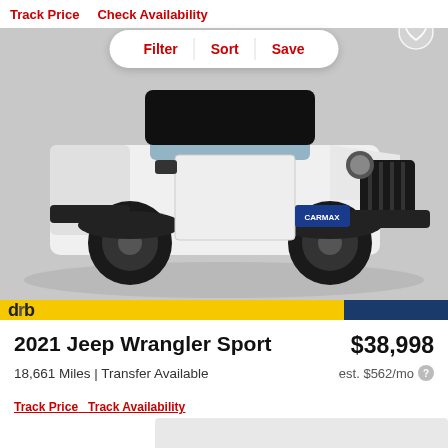Track Price   Check Availability
Filter   Sort   Save
[Figure (photo): White 2021 Jeep Wrangler Sport SUV shown from a front-side angle in a studio setting with gray background. Vehicle has black wheels, black grille, and a CarMax license plate frame.]
2021 Jeep Wrangler Sport
$38,998
18,661 Miles | Transfer Available
est. $562/mo
Track Price   Track Availability